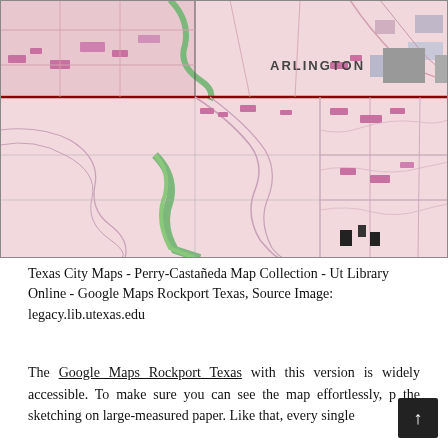[Figure (map): Topographic/street map of Arlington, Texas area showing streets, neighborhoods, and landmarks in pink/purple tones with green waterway features. Grid lines divide the map into sections. Labels include 'ARLINGTON' prominently in upper center area.]
Texas City Maps - Perry-Castañeda Map Collection - Ut Library Online - Google Maps Rockport Texas, Source Image: legacy.lib.utexas.edu
The Google Maps Rockport Texas with this version is widely accessible. To make sure you can see the map effortlessly, p the sketching on large-measured paper. Like that, every single